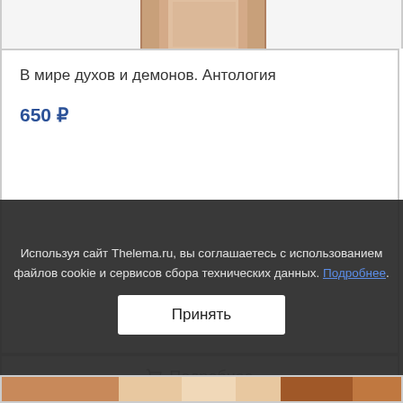[Figure (photo): Top portion of a book product page showing the bottom part of a book cover image]
В мире духов и демонов. Антология
650 ₽
🛒 Подробнее
Используя сайт Thelema.ru, вы соглашаетесь с использованием файлов cookie и сервисов сбора технических данных. Подробнее.
Принять
[Figure (photo): Bottom strip showing book spine/cover images]